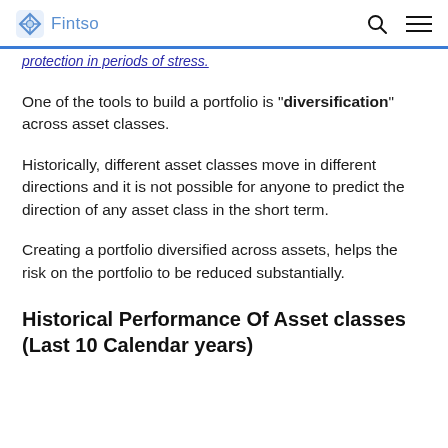Fintso
protection in periods of stress.
One of the tools to build a portfolio is "diversification" across asset classes.
Historically, different asset classes move in different directions and it is not possible for anyone to predict the direction of any asset class in the short term.
Creating a portfolio diversified across assets, helps the risk on the portfolio to be reduced substantially.
Historical Performance Of Asset classes (Last 10 Calendar years)